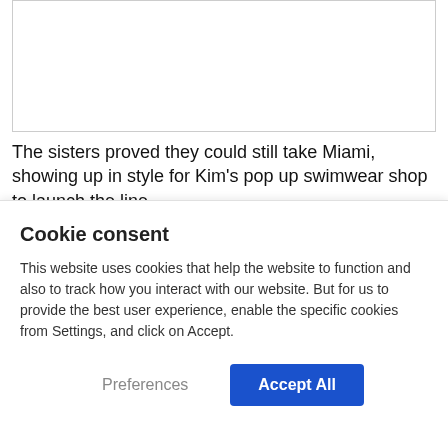[Figure (photo): Image placeholder area at top of article page]
The sisters proved they could still take Miami, showing up in style for Kim's pop up swimwear shop to launch the line.
In true Kardashian style, the event was star-studded with the likes of Malika Hagg, Candace Swanepoel, Naomi
Cookie consent
This website uses cookies that help the website to function and also to track how you interact with our website. But for us to provide the best user experience, enable the specific cookies from Settings, and click on Accept.
Preferences
Accept All